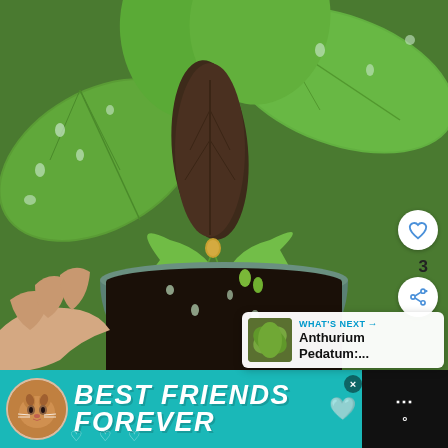[Figure (photo): Close-up photo of an Anthurium plant with large green glossy leaves covered in water droplets, one dark brownish-purple new leaf emerging from the center, held in a teal/gray pot with dark soil. A hand is visible at lower left holding up a leaf. The photo is taken from above.]
[Figure (screenshot): UI overlay on photo: heart (like) button (white circle with heart icon), like count '3', share button (white circle with share icon)]
[Figure (screenshot): What's Next overlay: thumbnail of another plant, label 'WHAT'S NEXT →', title 'Anthurium Pedatum:...']
[Figure (screenshot): Advertisement banner at bottom: teal background with cat illustration, bold white italic text 'BEST FRIENDS FOREVER' with heart icons, close button (×), right side shows dark background with weather/app icon dots and degree symbol]